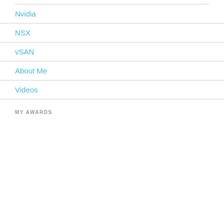Nvidia
NSX
vSAN
About Me
Videos
MY AWARDS